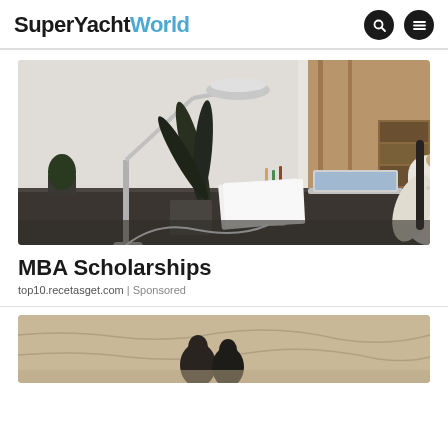SuperYachtWorld
[Figure (photo): Woman smiling at a laptop at a modern desk with a lamp and plant, indoor office setting]
MBA Scholarships
top10.recetasget.com | Sponsored
[Figure (photo): Partial view of a second advertisement image with sandy/map-like background textures]